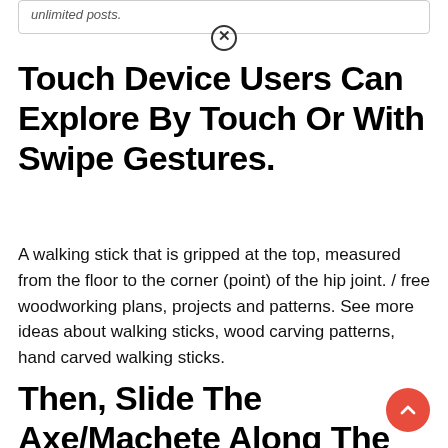unlimited posts.
Touch Device Users Can Explore By Touch Or With Swipe Gestures.
A walking stick that is gripped at the top, measured from the floor to the corner (point) of the hip joint. / free woodworking plans, projects and patterns. See more ideas about walking sticks, wood carving patterns, hand carved walking sticks.
Then, Slide The Axe/Machete Along The Bark To Remove